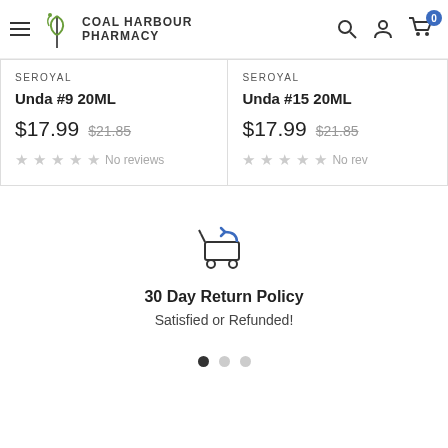Coal Harbour Pharmacy
SEROYAL
Unda #9 20ML
$17.99  $21.85
No reviews
SEROYAL
Unda #15 20ML
$17.99  $21.85
No reviews
[Figure (illustration): Shopping cart with return arrow icon]
30 Day Return Policy
Satisfied or Refunded!